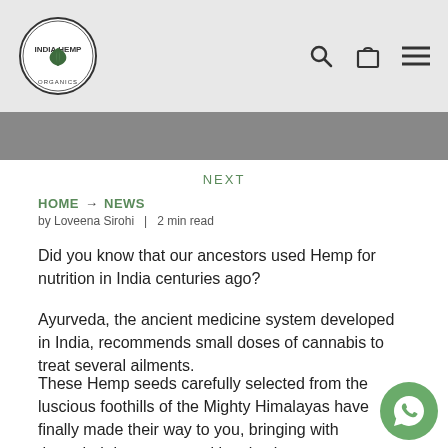[Figure (logo): India Hemp Organics circular logo with hemp leaf]
India Hemp Organics navigation bar with search, cart, and menu icons
NEXT
HOME → NEWS
by Loveena Sirohi  |  2 min read
Did you know that our ancestors used Hemp for nutrition in India centuries ago?
Ayurveda, the ancient medicine system developed in India, recommends small doses of cannabis to treat several ailments.
These Hemp seeds carefully selected from the luscious foothills of the Mighty Himalayas have finally made their way to you, bringing with them their immense nutritional value.